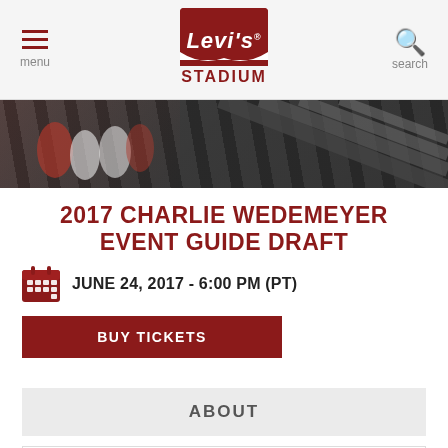[Figure (logo): Levi's Stadium logo with navigation bar showing menu and search icons]
[Figure (photo): Hero banner image showing people at the stadium from an overhead angle, with stadium seating visible]
2017 CHARLIE WEDEMEYER EVENT GUIDE DRAFT
JUNE 24, 2017 - 6:00 PM (PT)
BUY TICKETS
ABOUT
DATE
Saturday, June 24